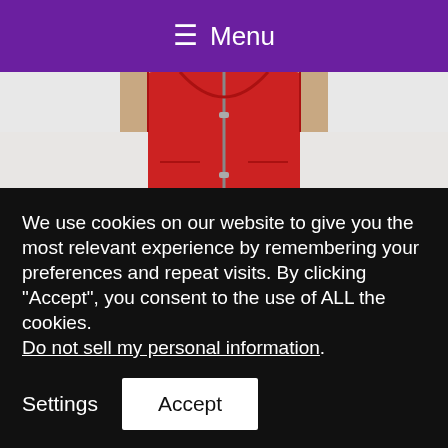≡ Menu
[Figure (photo): Person wearing a red SCOTTeVEST travel vest over a white long-sleeve shirt with grey pants, torso cropped view]
If you're looking for a more streamlined SCOTTeVEST travel vest and don't need as many pockets, then the SCOTTeVEST Women's 101 Travel Vest is the one for
We use cookies on our website to give you the most relevant experience by remembering your preferences and repeat visits. By clicking “Accept”, you consent to the use of ALL the cookies. Do not sell my personal information.
Settings  Accept